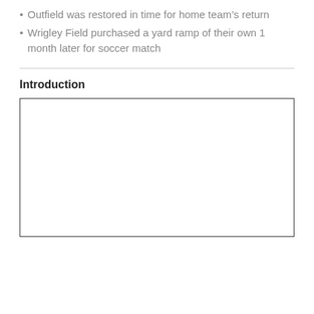Outfield was restored in time for home team's return
Wrigley Field purchased a yard ramp of their own 1 month later for soccer match
Introduction
[Figure (other): Empty bordered rectangle placeholder for introduction content]